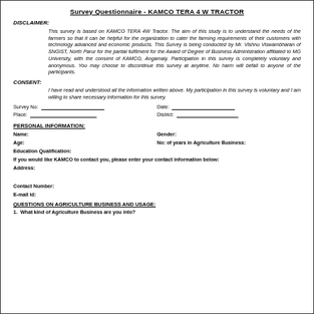Survey Questionnaire - KAMCO TERA 4 W TRACTOR
DISCLAIMER:
This survey is based on KAMCO TERA 4W Tractor. The aim of this study is to understand the needs of the farmers so that it can be helpful for the organization to cater the farming requirements of their customers with technology advanced and economic products. This Survey is being conducted by Mr. Vishnu Viswambharan of SNGIST, North Parur for the partial fulfilment for the Award of Degree of Business Administration affiliated to MG University, with the consent of KAMCO, Angamaly. Participation in this survey is completely voluntary and anonymous. You may choose to discontinue this survey at anytime. No harm will befall to anyone of the participants.
CONSENT:
I have read and understood all the information written above. My participation in this survey is voluntary and I am willing to share necessary information for this survey.
Survey No:       Date:
Place:       District:
PERSONAL INFORMATION:
Name:       Gender:
Age:       No: of years in Agriculture Business:
Education Qualification:
If you would like KAMCO to contact you, please enter your contact information below:
Address:

Contact Number:
E-mail id:
QUESTIONS ON AGRICULTURE BUSINESS AND USAGE:
1. What kind of Agriculture Business are you into?